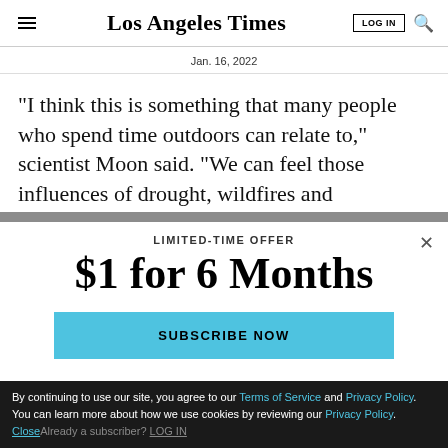Los Angeles Times
Jan. 16, 2022
“I think this is something that many people who spend time outdoors can relate to,” scientist Moon said. “We can feel those influences of drought, wildfires and
LIMITED-TIME OFFER
$1 for 6 Months
SUBSCRIBE NOW
By continuing to use our site, you agree to our Terms of Service and Privacy Policy. You can learn more about how we use cookies by reviewing our Privacy Policy. Close
Already a subscriber? LOG IN